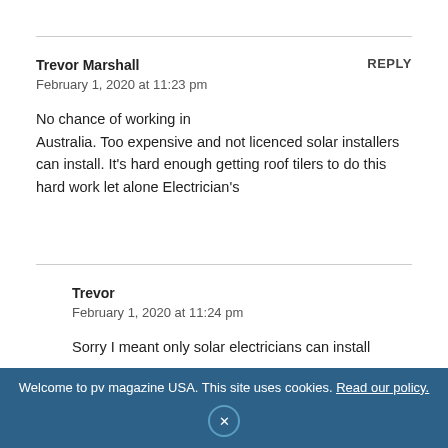Trevor Marshall
February 1, 2020 at 11:23 pm
No chance of working in Australia. Too expensive and not licenced solar installers can install. It's hard enough getting roof tilers to do this hard work let alone Electrician's
Trevor
February 1, 2020 at 11:24 pm
Sorry I meant only solar electricians can install
Welcome to pv magazine USA. This site uses cookies. Read our policy.